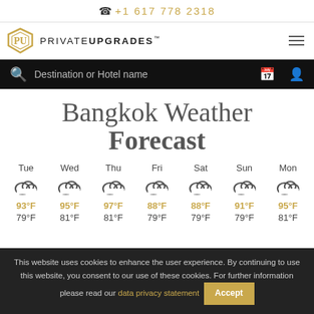☎ +1 617 778 2318
[Figure (logo): PrivateUpgrades logo with gold shield icon and text PRIVATEUPGRADES with hamburger menu icon]
Destination or Hotel name (search bar)
Bangkok Weather Forecast
| Tue | Wed | Thu | Fri | Sat | Sun | Mon |
| --- | --- | --- | --- | --- | --- | --- |
| cloud icon | cloud icon | cloud icon | cloud icon | cloud icon | cloud icon | cloud icon |
| 93°F | 95°F | 97°F | 88°F | 88°F | 91°F | 95°F |
| 79°F | 81°F | 81°F | 79°F | 79°F | 79°F | 81°F |
This website uses cookies to enhance the user experience. By continuing to use this website, you consent to our use of these cookies. For further information please read our data privacy statement  Accept